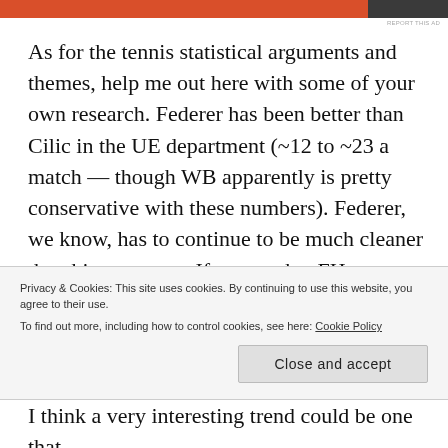[Figure (other): Orange and dark grey ad banner strip at top of page with 'REPORT THIS AD' text]
As for the tennis statistical arguments and themes, help me out here with some of your own research. Federer has been better than Cilic in the UE department (~12 to ~23 a match — though WB apparently is pretty conservative with these numbers). Federer, we know, has to continue to be much cleaner than his opponent. If we get that FH abandonment or his vaunted (improved) BH
Privacy & Cookies: This site uses cookies. By continuing to use this website, you agree to their use.
To find out more, including how to control cookies, see here: Cookie Policy
Close and accept
I think a very interesting trend could be one that